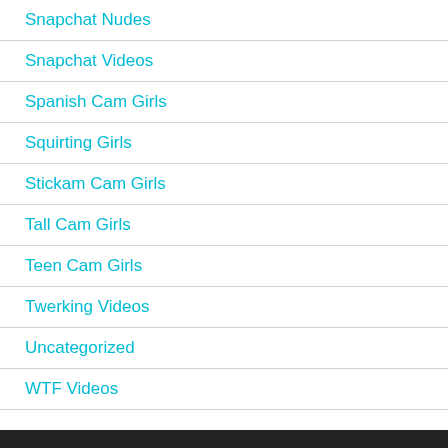Snapchat Nudes
Snapchat Videos
Spanish Cam Girls
Squirting Girls
Stickam Cam Girls
Tall Cam Girls
Teen Cam Girls
Twerking Videos
Uncategorized
WTF Videos